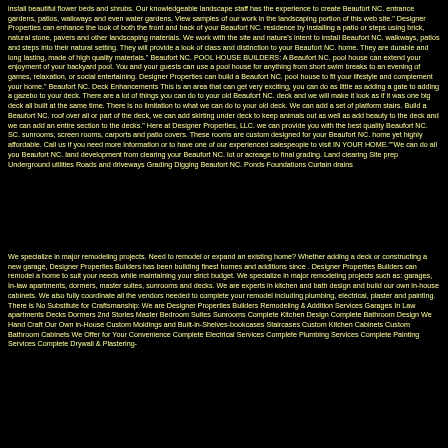install beautiful flower beds and shrubs. Our knowledgeable landscape staff has the experience to create Beaufort NC. entrance gardens, patios, walkways and even water gardens. View samples of our work in the landscaping portion of this web site." Designer Properties can enhance the look of both the front and back of your Beaufort NC. residence by installing a patio or steps using brick, natural stone, pavers and other landscaping materials. We work with the site and nature's intent to install Beaufort NC. walkways, patios and steps into their natural setting. They will provide a look of class and distinction to your Beaufort NC. home. They are durable and long lasting, made of high quality materials." Beaufort NC. POOL HOUSE BUILDERS: A Beaufort NC. pool house can extend your enjoyment of your backyard pool. You and your guests can use a pool house for anything from short swim breaks to an evening of games, relaxation, or social entertaining. Designer Properties can build a Beaufort NC. pool house to fit your lifestyle and complement your home." Beaufort NC. Deck Enhancements This is an area that can get very exciting, you can do as little as adding a gate to adding a gazebo to your deck. There are a lot of things you can do to your old Beaufort NC. deck and we will make it look as if it was one big deck all built at the same time. There is no limitation to what we can do to your old deck. We can add a set of platform stairs. Build a Beaufort NC. roof over all or part of the deck, we can add skirting under deck to keep animals out as well as add beauty to the deck and we can add an entire section to the decks." Here at Designer Properties, LLC. we can provide you with the best quality Beaufort NC. SC. sunrooms, screen rooms, carports and patio covers. These rooms are custom designed for your Beaufort NC. home yet highly affordable. Call us if you need more information or to have one of our experienced salespeople to visit IN YOUR HOME.""We can do all you Beaufort NC. land development from clearing your Beaufort NC. lot or acreage to final grading. Land clearing Site prep Underground utilities Roads and driveways Grading Digging Beaufort NC. Ponds Foundations Curtain drains
We specialize in major remodeling projects. Need to remodel or expand an existing home? Whether adding a deck or constructing a new garage, Designer Properties Builders has been building finest homes and additions since . Designer Properties Builders can remodel a home to suit your needs while maintaining your strict budget. We specialize in major remodeling projects such as: garages, In-law apartments, dormers, master suites, sunrooms and decks. We are experts in kitchen and bath design and build our own in-house cabinets. We also fully coordinate all the vendors needed to complete your remodel including plumbing, electrical, plaster and painting. There is No Substitute for Craftsmanship: We are Designer Properties Builders Remodeling & Addition Services Garages In Law apartments Decks Dormers 2nd Stories Master Bedroom Suites Sunrooms Complete Kitchen Design Complete Bathroom Design We Hand Craft Our Own in-House Custom Moldings and Built-in-Shelves-bookcases Staircases Custom Kitchen Cabinets Custom Bathroom Cabinets We Offer for Your Convenience Complete Electrical Services Complete Plumbing Services Complete Painting Services Complete Drywall & Plastering-